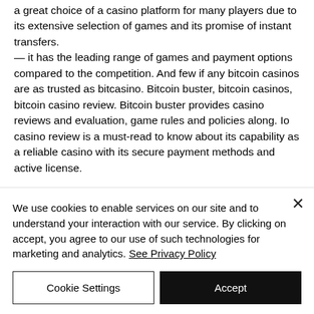a great choice of a casino platform for many players due to its extensive selection of games and its promise of instant transfers. — it has the leading range of games and payment options compared to the competition. And few if any bitcoin casinos are as trusted as bitcasino. Bitcoin buster, bitcoin casinos, bitcoin casino review. Bitcoin buster provides casino reviews and evaluation, game rules and policies along. Io casino review is a must-read to know about its capability as a reliable casino with its secure payment methods and active license.
We use cookies to enable services on our site and to understand your interaction with our service. By clicking on accept, you agree to our use of such technologies for marketing and analytics. See Privacy Policy
Cookie Settings
Accept